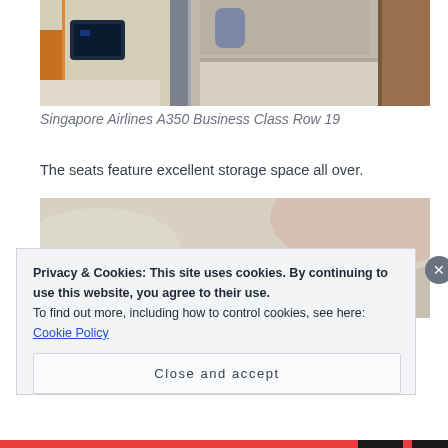[Figure (photo): Singapore Airlines A350 Business Class cabin interior, showing seat pod area with beige/cream leather, wooden accents, orange ambient lighting, and a flat bed surface]
Singapore Airlines A350 Business Class Row 19
The seats feature excellent storage space all over.
[Figure (photo): Close-up of Singapore Airlines A350 Business Class seat storage compartment with cream/beige surround and dark grey interior panel with ambient lighting strip]
Privacy & Cookies: This site uses cookies. By continuing to use this website, you agree to their use.
To find out more, including how to control cookies, see here: Cookie Policy
Close and accept